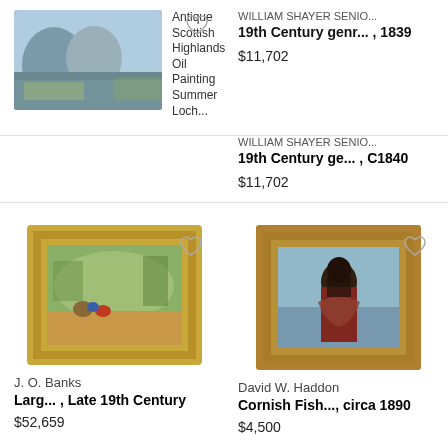[Figure (photo): Scottish Highlands landscape painting thumbnail with mountains and loch, shown partially at top of page]
Antique Scottish Highlands Oil Painting Summer Loch...
WILLIAM SHAYER SENIO...
19th Century genr... , 1839
$11,702
WILLIAM SHAYER SENIO...
19th Century ge... , C1840
$11,702
[Figure (photo): Painting in gold ornate frame showing figures in a landscape, J.O. Banks, Late 19th Century]
J. O. Banks
Larg... , Late 19th Century
$52,659
[Figure (photo): Painting in ornate gold frame showing a Cornish fisherwoman, David W. Haddon, circa 1890]
David W. Haddon
Cornish Fish..., circa 1890
$4,500